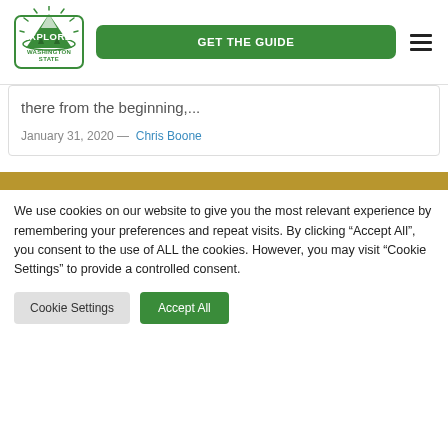[Figure (logo): Explore Washington State logo — green mountain and sun rays with text]
GET THE GUIDE
there from the beginning,...
January 31, 2020 —  Chris Boone
We use cookies on our website to give you the most relevant experience by remembering your preferences and repeat visits. By clicking "Accept All", you consent to the use of ALL the cookies. However, you may visit "Cookie Settings" to provide a controlled consent.
Cookie Settings   Accept All